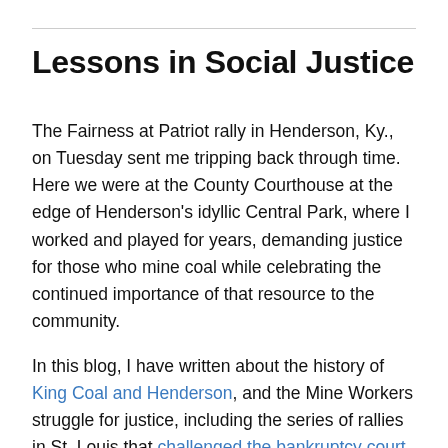Lessons in Social Justice
The Fairness at Patriot rally in Henderson, Ky., on Tuesday sent me tripping back through time. Here we were at the County Courthouse at the edge of Henderson's idyllic Central Park, where I worked and played for years, demanding justice for those who mine coal while celebrating the continued importance of that resource to the community.
In this blog, I have written about the history of King Coal and Henderson, and the Mine Workers struggle for justice, including the series of rallies in St. Louis that challenged the bankruptcy court to do the right thing, which, sadly, it did not. But nothing hit home quite so dramatically as the